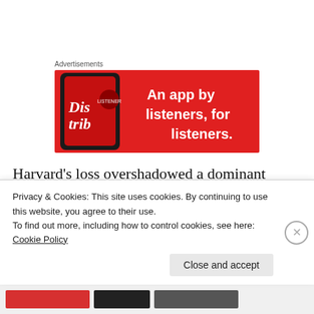Advertisements
[Figure (illustration): Red advertisement banner for a podcast/music app showing a smartphone with 'Distrib' text and the tagline 'An app by listeners, for listeners.']
Harvard's loss overshadowed a dominant game from Steve Moundou-Missi. As in the first meeting, Moundou-Missi kept Justin Sears quiet: Sears got only
Privacy & Cookies: This site uses cookies. By continuing to use this website, you agree to their use.
To find out more, including how to control cookies, see here: Cookie Policy
Close and accept